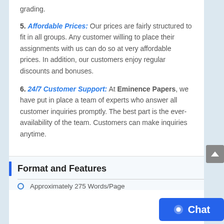grading.
5. Affordable Prices: Our prices are fairly structured to fit in all groups. Any customer willing to place their assignments with us can do so at very affordable prices. In addition, our customers enjoy regular discounts and bonuses.
6. 24/7 Customer Support: At Eminence Papers, we have put in place a team of experts who answer all customer inquiries promptly. The best part is the ever-availability of the team. Customers can make inquiries anytime.
Format and Features
Approximately 275 Words/Page